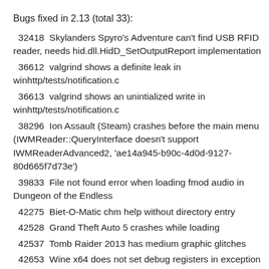Bugs fixed in 2.13 (total 33):
32418  Skylanders Spyro's Adventure can't find USB RFID reader, needs hid.dll.HidD_SetOutputReport implementation
36612  valgrind shows a definite leak in winhttp/tests/notification.c
36613  valgrind shows an unintialized write in winhttp/tests/notification.c
38296  Ion Assault (Steam) crashes before the main menu (IWMReader::QueryInterface doesn't support IWMReaderAdvanced2, 'ae14a945-b90c-4d0d-9127-80d665f7d73e')
39833  File not found error when loading fmod audio in Dungeon of the Endless
42275  Biet-O-Matic chm help without directory entry
42528  Grand Theft Auto 5 crashes while loading
42537  Tomb Raider 2013 has medium graphic glitches
42653  Wine x64 does not set debug registers in exception record
42918  Command and Conquer Red Alert 3: should display at least silhouette (pSkipConstants parameter for